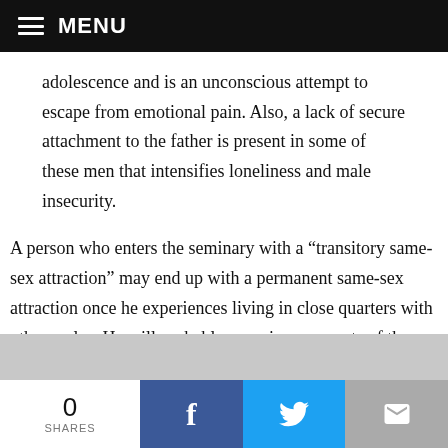MENU
adolescence and is an unconscious attempt to escape from emotional pain. Also, a lack of secure attachment to the father is present in some of these men that intensifies loneliness and male insecurity.
A person who enters the seminary with a “transitory same-sex attraction” may end up with a permanent same-sex attraction once he experiences living in close quarters with other males. He will probably experience aspects of the close living quarters commonly occurring in college dorms such as roommates walking around in underwear and
0 SHARES